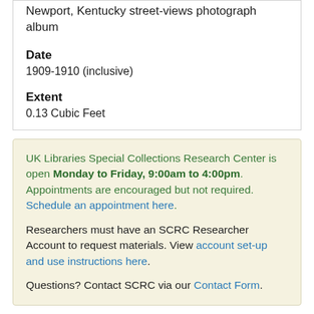Newport, Kentucky street-views photograph album
Date
1909-1910 (inclusive)
Extent
0.13 Cubic Feet
UK Libraries Special Collections Research Center is open Monday to Friday, 9:00am to 4:00pm. Appointments are encouraged but not required. Schedule an appointment here. Researchers must have an SCRC Researcher Account to request materials. View account set-up and use instructions here. Questions? Contact SCRC via our Contact Form.
Table of Contents